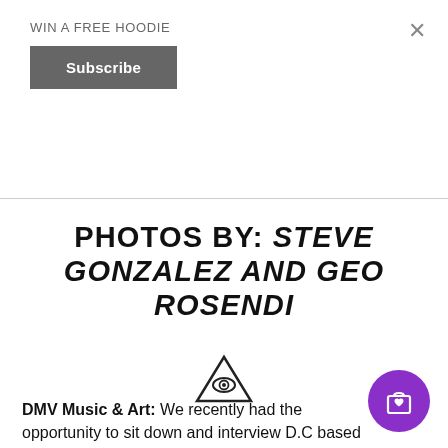WIN A FREE HOODIE
Subscribe
PHOTOS BY: STEVE GONZALEZ AND GEO ROSENDI
[Figure (illustration): All-seeing eye triangle symbol (illuminati eye)]
DMV Music & Art: We recently had the opportunity to sit down and interview D.C based film-maker and videographer Geo Rosendi.